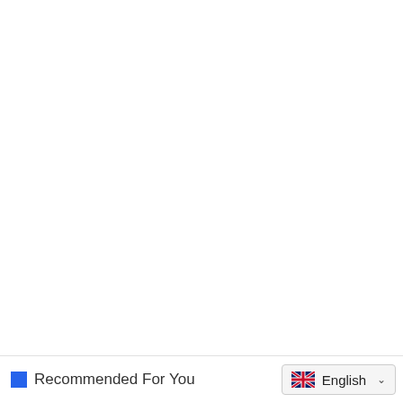Recommended For You
[Figure (other): Language selector UI widget showing UK flag and 'English' text with a dropdown chevron]